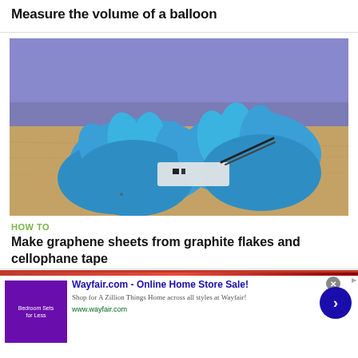Measure the volume of a balloon
[Figure (photo): Two gloved hands in blue latex gloves working with a small electronic component or graphene sample on a wooden table surface. The person is wearing a purple/blue outfit in the background.]
HOW TO
Make graphene sheets from graphite flakes and cellophane tape
[Figure (screenshot): Advertisement banner for Wayfair.com - Online Home Store Sale! Shows bedroom furniture thumbnail, Wayfair logo and text, with a blue circular arrow button on the right.]